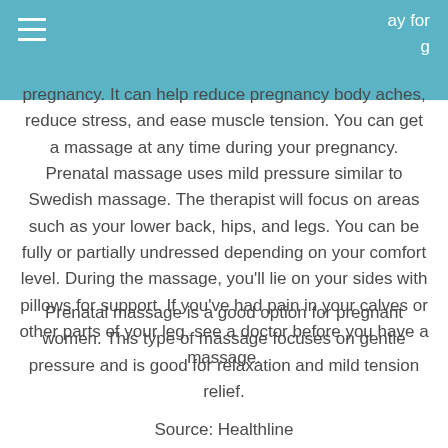ay for
g
pregnancy. It can help reduce pregnancy body aches, reduce stress, and ease muscle tension. You can get a massage at any time during your pregnancy. Prenatal massage uses mild pressure similar to Swedish massage. The therapist will focus on areas such as your lower back, hips, and legs. You can be fully or partially undressed depending on your comfort level. During the massage, you'll lie on your sides with pillows for support. If you've had pain in your calves or other parts of your leg, see a doctor before you have a massage.
Prenatal massage is a good option for pregnant women. This type of massage focuses on gentle pressure and is good for relaxation and mild tension relief.
Source: Healthline